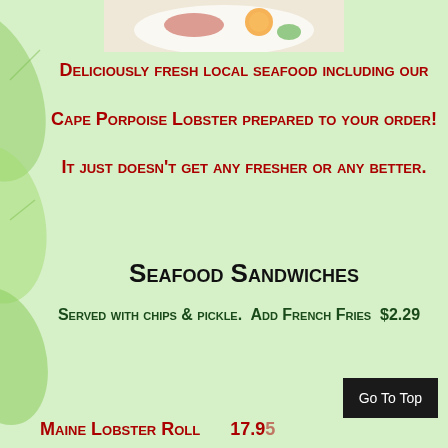[Figure (photo): Partial view of a seafood dish with lemon slices and garnish on a white plate]
Deliciously fresh local seafood including our Cape Porpoise Lobster prepared to your order! It just doesn't get any fresher or any better.
Seafood Sandwiches
Served with chips & pickle. Add French Fries $2.29
Maine Lobster Roll    17.95